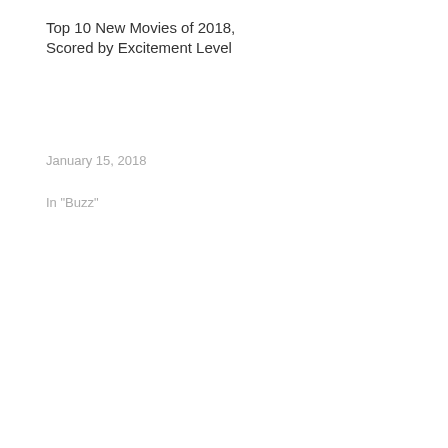Top 10 New Movies of 2018, Scored by Excitement Level
January 15, 2018
In "Buzz"